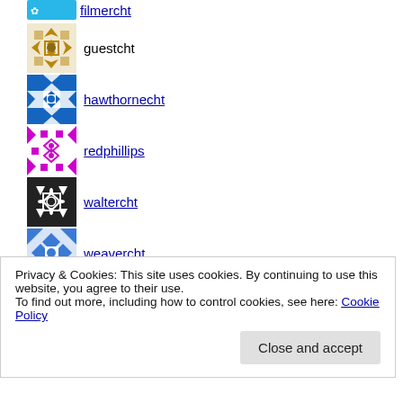filmercht
guestcht
hawthornecht
redphillips
waltercht
weavercht
Privacy & Cookies: This site uses cookies. By continuing to use this website, you agree to their use. To find out more, including how to control cookies, see here: Cookie Policy
Close and accept